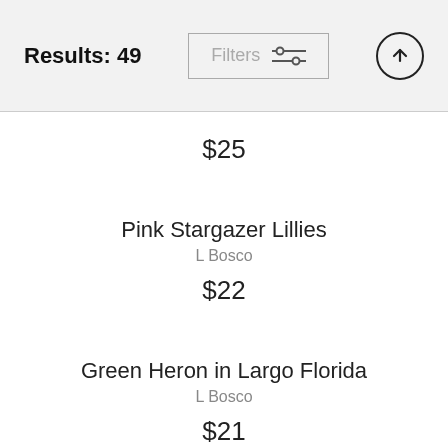Results: 49
$25
Pink Stargazer Lillies
L Bosco
$22
Green Heron in Largo Florida
L Bosco
$21